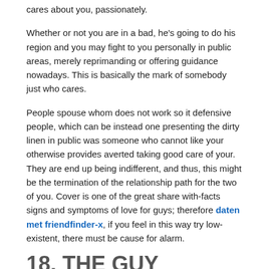cares about you, passionately.
Whether or not you are in a bad, he's going to do his region and you may fight to you personally in public areas, merely reprimanding or offering guidance nowadays. This is basically the mark of somebody just who cares.
People spouse whom does not work so it defensive people, which can be instead one presenting the dirty linen in public was someone who cannot like your otherwise provides averted taking good care of your. They are end up being indifferent, and thus, this might be the termination of the relationship path for the two of you. Cover is one of the great share with-facts signs and symptoms of love for guys; therefore daten met friendfinder-x, if you feel in this way try low-existent, there must be cause for alarm.
18. THE GUY HINDERS CONVERSATIONS